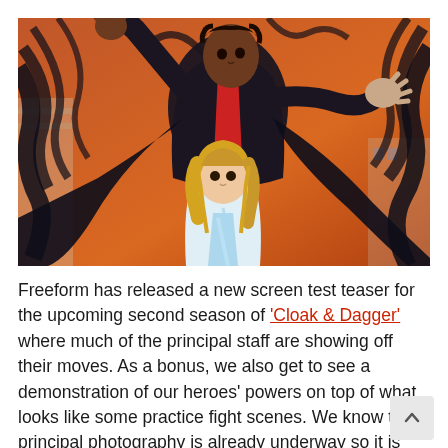[Figure (illustration): Comic book style illustration of two superheroes — Cloak and Dagger — against an orange sky background. A tall Black male figure with arms outstretched wearing a dark cloak stands behind a shorter blonde female figure in a light-colored outfit. Dark shadowy tendrils surround them.]
Freeform has released a new screen test teaser for the upcoming second season of 'Cloak & Dagger' where much of the principal staff are showing off their moves. As a bonus, we also get to see a demonstration of our heroes' powers on top of what looks like some practice fight scenes. We know that principal photography is already underway so it is fun to see the leads being able to show